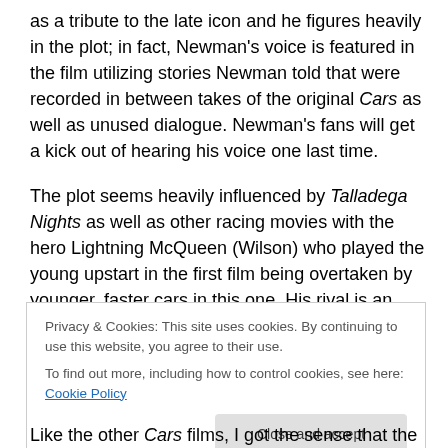as a tribute to the late icon and he figures heavily in the plot; in fact, Newman's voice is featured in the film utilizing stories Newman told that were recorded in between takes of the original Cars as well as unused dialogue. Newman's fans will get a kick out of hearing his voice one last time.
The plot seems heavily influenced by Talladega Nights as well as other racing movies with the hero Lightning McQueen (Wilson) who played the young upstart in the first film being overtaken by younger, faster cars in this one. His rival is an arrogant high-tech machine who
Privacy & Cookies: This site uses cookies. By continuing to use this website, you agree to their use.
To find out more, including how to control cookies, see here: Cookie Policy
Like the other Cars films, I got the sense that the really